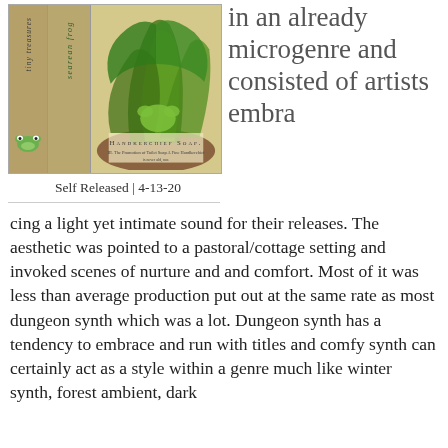[Figure (photo): Vintage illustration/postcard showing a green frog character with plant/leaf motifs, possibly a soap advertisement with text 'Handkerchief Soap'. Left panels show rotated text 'tiny treasures' and 'searean frog' with a small frog illustration.]
Self Released | 4-13-20
in an already microgenre and consisted of artists embracing a light yet intimate sound for their releases. The aesthetic was pointed to a pastoral/cottage setting and invoked scenes of nurture and and comfort. Most of it was less than average production put out at the same rate as most dungeon synth which was a lot. Dungeon synth has a tendency to embrace and run with titles and comfy synth can certainly act as a style within a genre much like winter synth, forest ambient, dark